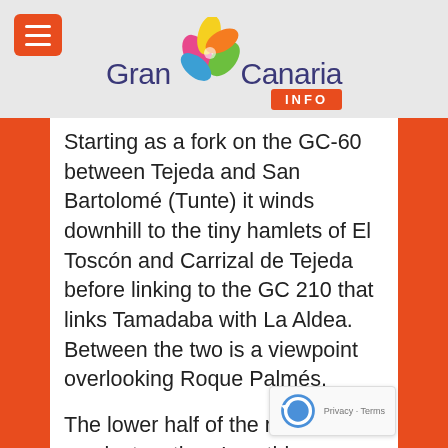[Figure (logo): Gran Canaria INFO logo with colorful flower/leaf graphic between 'Gran' and 'Canaria', with orange INFO badge below]
Starting as a fork on the GC-60 between Tejeda and San Bartolomé (Tunte) it winds downhill to the tiny hamlets of El Toscón and Carrizal de Tejeda before linking to the GC 210 that links Tamadaba with La Aldea. Between the two is a viewpoint overlooking Roque Palmés.
The lower half of the road is the scariest as there's nothing between you and the Barranco bottom hundreds of metres below. Stop for great views back